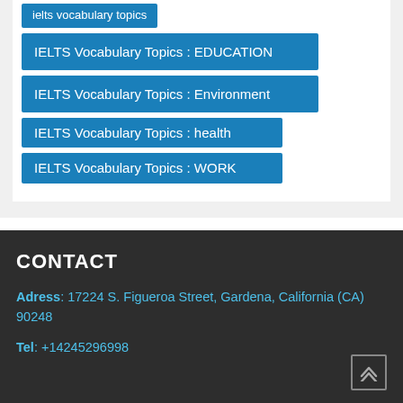ielts vocabulary topics
IELTS Vocabulary Topics : EDUCATION
IELTS Vocabulary Topics : Environment
IELTS Vocabulary Topics : health
IELTS Vocabulary Topics : WORK
CONTACT
Adress: 17224 S. Figueroa Street, Gardena, California (CA) 90248
Tel: +14245296998